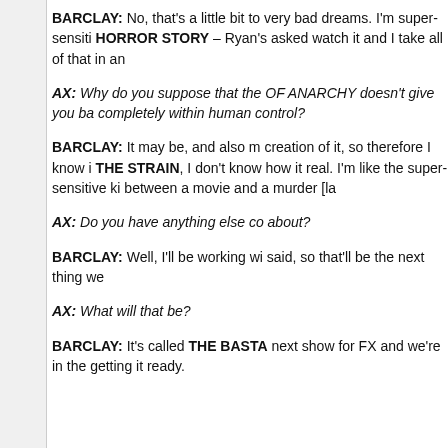BARCLAY: No, that's a little bit to very bad dreams. I'm super-sensiti HORROR STORY – Ryan's asked watch it and I take all of that in an
AX: Why do you suppose that the OF ANARCHY doesn't give you ba completely within human control?
BARCLAY: It may be, and also m creation of it, so therefore I know i THE STRAIN, I don't know how it real. I'm like the super-sensitive ki between a movie and a murder [la
AX: Do you have anything else co about?
BARCLAY: Well, I'll be working wi said, so that'll be the next thing we
AX: What will that be?
BARCLAY: It's called THE BASTA next show for FX and we're in the getting it ready.